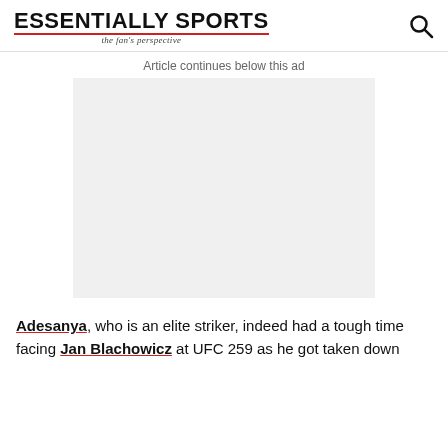ESSENTIALLY SPORTS — the fan's perspective
Article continues below this ad
[Figure (other): Advertisement placeholder — grey rectangle]
Adesanya, who is an elite striker, indeed had a tough time facing Jan Blachowicz at UFC 259 as he got taken down